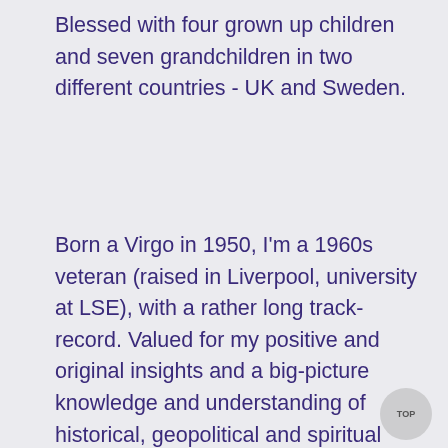Blessed with four grown up children and seven grandchildren in two different countries - UK and Sweden.
Born a Virgo in 1950, I'm a 1960s veteran (raised in Liverpool, university at LSE), with a rather long track-record. Valued for my positive and original insights and a big-picture knowledge and understanding of historical, geopolitical and spiritual issues. Nowadays looked on as a broad-spectrum thinker and seer.
I have run bookstores, crafted lots of words, books and websites; campaigned for home-birth, peace, ecological and community issues; created three innovative social-educational projects; taught endless classes and workshops; spoken from many stages and counselled thousands of people. Learned lots